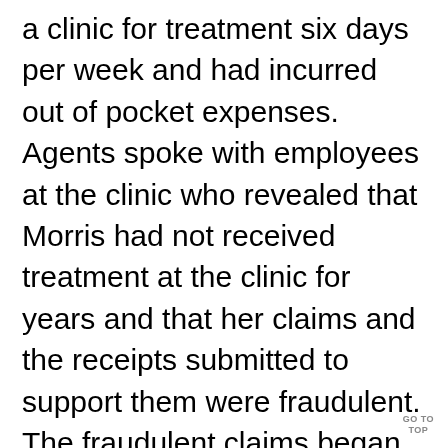a clinic for treatment six days per week and had incurred out of pocket expenses. Agents spoke with employees at the clinic who revealed that Morris had not received treatment at the clinic for years and that her claims and the receipts submitted to support them were fraudulent. The fraudulent claims began in January 2014 and continued until July 2019, when Morris was confronted by investigators and admitted that she had filed false claims for reimbursement for treatment, mileage and expenses. The investigation revealed that Morris had filed 270 fraudulent claims...